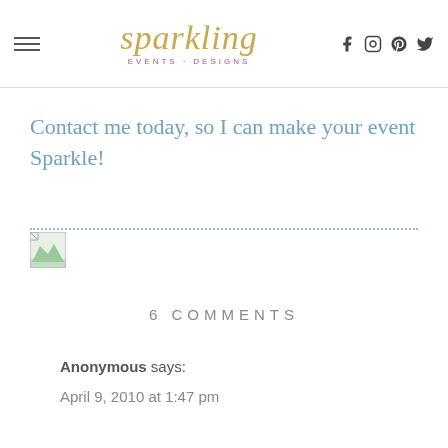Sparkling Events Designs
Contact me today, so I can make your event Sparkle!
[Figure (illustration): Broken image placeholder thumbnail]
6 Comments
Anonymous says:
April 9, 2010 at 1:47 pm